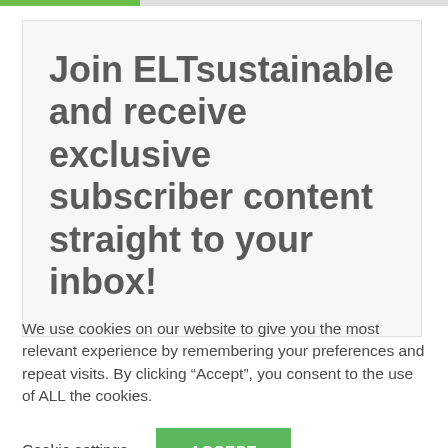[Figure (other): Green progress bar at top of page, partially filled]
Join ELTsustainable and receive exclusive subscriber content straight to your inbox!
We use cookies on our website to give you the most relevant experience by remembering your preferences and repeat visits. By clicking “Accept”, you consent to the use of ALL the cookies.
Cookie settings   ACCEPT